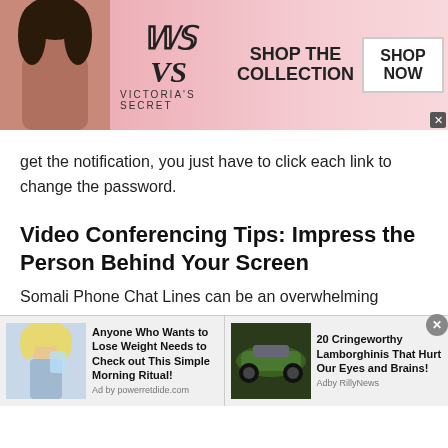[Figure (other): Victoria's Secret advertisement banner with model, VS logo, 'SHOP THE COLLECTION' text, and 'SHOP NOW' button]
get the notification, you just have to click each link to change the password.
Video Conferencing Tips: Impress the Person Behind Your Screen
Somali Phone Chat Lines can be an overwhelming situation especially if you want to impress the girl you are chatting with. A person looking for a serious romantic relationship with an Somali girl must make sure he gives an unforgettable first impression. But how do you impress
[Figure (other): Bottom advertisement strip with two ads: 'Anyone Who Wants to Lose Weight Needs to Check out This Simple Morning Ritual!' with woman drinking water image, and '20 Cringeworthy Lamborghinis That Hurt Our Eyes and Brains!' with green Lamborghini image]